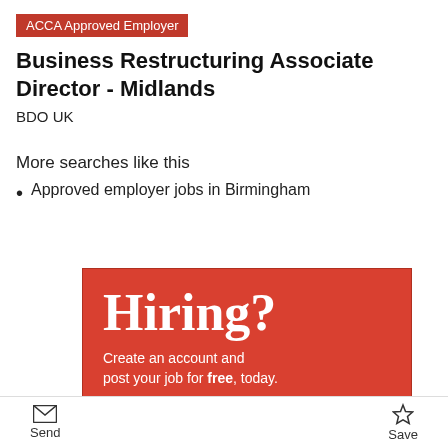ACCA Approved Employer
Business Restructuring Associate Director - Midlands
BDO UK
More searches like this
Approved employer jobs in Birmingham
[Figure (infographic): Red advertisement banner reading 'Hiring?' in large serif font with text: 'Create an account and post your job for free, today.']
Send   Save